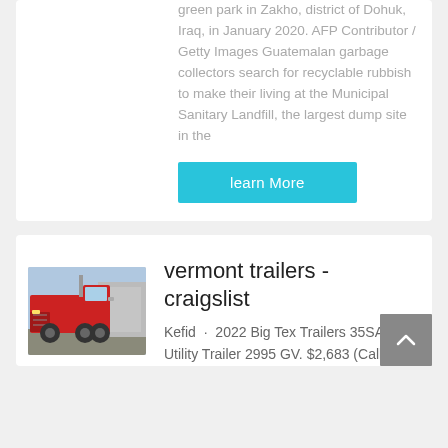green park in Zakho, district of Dohuk, Iraq, in January 2020. AFP Contributor / Getty Images Guatemalan garbage collectors search for recyclable rubbish to make their living at the Municipal Sanitary Landfill, the largest dump site in the
learn More
[Figure (photo): Red semi-truck / tractor unit parked in a lot with blue sky and buildings in background]
vermont trailers - craigslist
Kefid · 2022 Big Tex Trailers 35SA Utility Trailer 2995 GV. $2,683 (Call